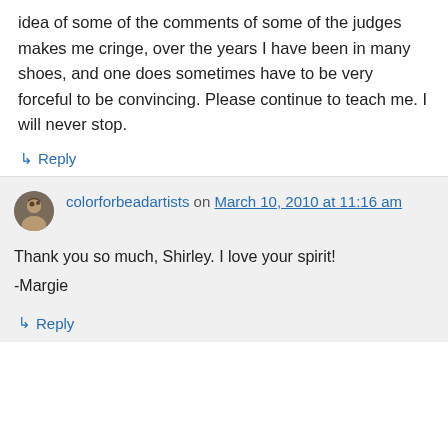idea of some of the comments of some of the judges makes me cringe, over the years I have been in many shoes, and one does sometimes have to be very forceful to be convincing. Please continue to teach me. I will never stop.
↳ Reply
colorforbeadartists on March 10, 2010 at 11:16 am
Thank you so much, Shirley. I love your spirit!
-Margie
↳ Reply